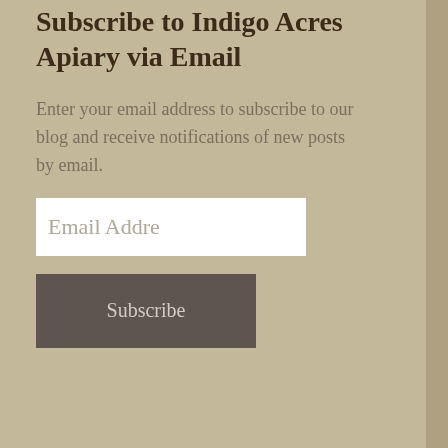Subscribe to Indigo Acres Apiary via Email
Enter your email address to subscribe to our blog and receive notifications of new posts by email.
Email Addre
Subscribe